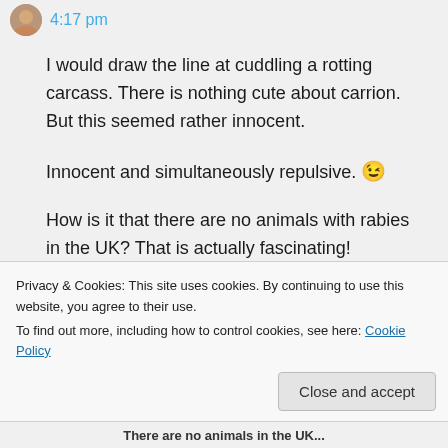4:17 pm
I would draw the line at cuddling a rotting carcass. There is nothing cute about carrion. But this seemed rather innocent.

Innocent and simultaneously repulsive. 😉

How is it that there are no animals with rabies in the UK? That is actually fascinating!
👍 Like
Privacy & Cookies: This site uses cookies. By continuing to use this website, you agree to their use.
To find out more, including how to control cookies, see here: Cookie Policy
Close and accept
There are no animals in the UK...